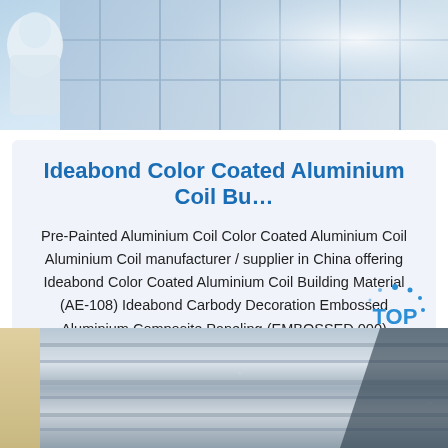[Figure (photo): Top portion showing metallic/aluminium panels with blue tones and a figure in white protective clothing]
Ideabond Color Coated Aluminium Coil Bu…
Pre-Painted Aluminium Coil Color Coated Aluminium Coil Aluminium Coil manufacturer / supplier in China offering Ideabond Color Coated Aluminium Coil Building Material (AE-108) Ideabond Carbody Decoration Embossed Aluminium Composite Paneling (EMBOSSED 000) Ideabond White Color Pre-Painted Aluminium Coil (POLYESTER/PVDF) and so on.
Get Price
[Figure (photo): Bottom portion showing rolls of aluminium coil material with silver metallic surface, with a 'TOP' logo overlay in blue]